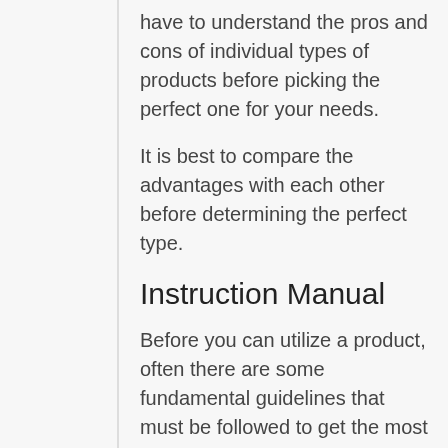have to understand the pros and cons of individual types of products before picking the perfect one for your needs.
It is best to compare the advantages with each other before determining the perfect type.
Instruction Manual
Before you can utilize a product, often there are some fundamental guidelines that must be followed to get the most out of it. While some people may be able to just figure it out on their own, others may need an